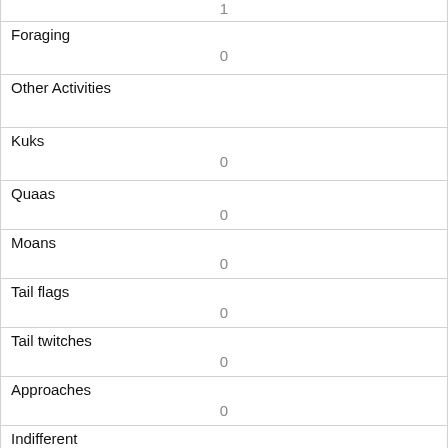| 1 |
| Foraging | 0 |
| Other Activities |  |
| Kuks | 0 |
| Quaas | 0 |
| Moans | 0 |
| Tail flags | 0 |
| Tail twitches | 0 |
| Approaches | 0 |
| Indifferent | 1 |
| Runs from | 0 |